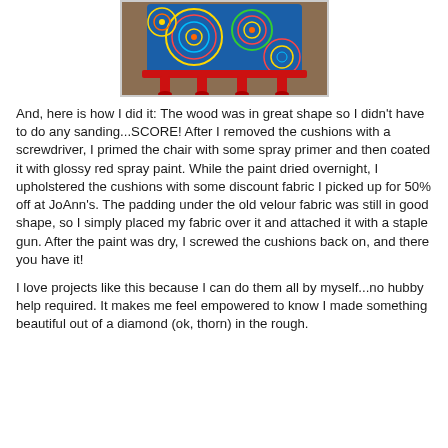[Figure (photo): A small chair with a colorful circular mandala-patterned fabric on the seat and back, painted with glossy red legs, photographed against a brown background.]
And, here is how I did it: The wood was in great shape so I didn't have to do any sanding...SCORE!  After I removed the cushions with a screwdriver, I primed the chair with some spray primer and then coated it with glossy red spray paint.  While the paint dried overnight, I upholstered the cushions with some discount fabric I picked up for 50% off at JoAnn's.  The padding under the old velour fabric was still in good shape, so I simply placed my fabric over it and attached it with a staple gun.  After the paint was dry, I screwed the cushions back on, and there you have it!
I love projects like this because I can do them all by myself...no hubby help required.  It makes me feel empowered to know I made something beautiful out of a diamond (ok, thorn) in the rough.